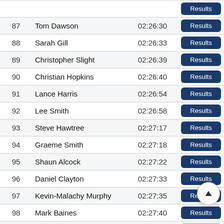| # | Name | Time |  |
| --- | --- | --- | --- |
| 87 | Tom Dawson | 02:26:30 | Results |
| 88 | Sarah Gill | 02:26:33 | Results |
| 89 | Christopher Slight | 02:26:39 | Results |
| 90 | Christian Hopkins | 02:26:40 | Results |
| 91 | Lance Harris | 02:26:54 | Results |
| 92 | Lee Smith | 02:26:58 | Results |
| 93 | Steve Hawtree | 02:27:17 | Results |
| 94 | Graeme Smith | 02:27:18 | Results |
| 95 | Shaun Alcock | 02:27:22 | Results |
| 96 | Daniel Clayton | 02:27:33 | Results |
| 97 | Kevin-Malachy Murphy | 02:27:35 | Results |
| 98 | Mark Baines | 02:27:40 | Results |
| 99 | Carole Fee | 02:28:00 | Results |